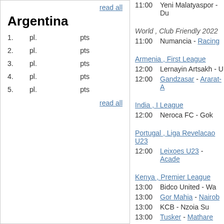read all
Argentina
| # | pl. | pts |
| --- | --- | --- |
| 1. | pl. | pts |
| 2. | pl. | pts |
| 3. | pl. | pts |
| 4. | pl. | pts |
| 5. | pl. | pts |
read all
11:00   Yeni Malatyaspor - Du...
World , Club Friendly 2022
11:00   Numancia - Racing
Armenia , First League
12:00   Lernayin Artsakh - U...
12:00   Gandzasar - Ararat-A...
India , I League
12:00   Neroca FC - Gok...
Portugal , Liga Revelacao U23
12:00   Leixoes U23 - Acade...
Kenya , Premier League
13:00   Bidco United - Wa...
13:00   Gor Mahia - Nairob...
13:00   KCB - Nzoia Su...
13:00   Tusker - Mathare...
13:00   Posta Rangers - Po...